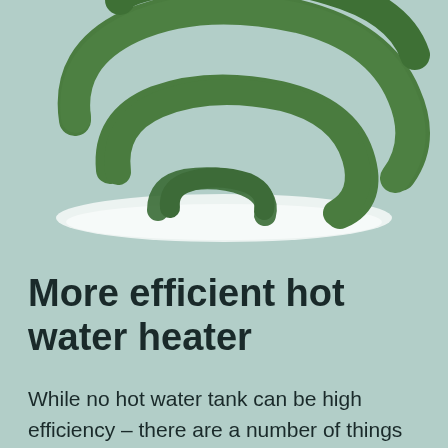[Figure (illustration): Green coiled pipe/heater element illustration above a white oval shadow, on a light teal background. The coil is a thick green serpentine tube shape cropped at top.]
More efficient hot water heater
While no hot water tank can be high efficiency – there are a number of things that can be done to ensure the hot water tank is the most efficient it can be. Adding extra insulation and using the most recent burner and gas valve